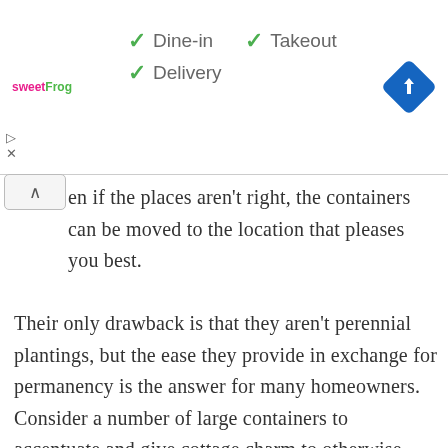[Figure (screenshot): Ad bar showing sweetFrog logo, checkmarks for Dine-in, Takeout, Delivery services, and a blue navigation direction icon on the right]
en if the places aren’t right, the containers can be moved to the location that pleases you best.
Their only drawback is that they aren’t perennial plantings, but the ease they provide in exchange for permanency is the answer for many homeowners. Consider a number of large containers to accentuate and give cottage charm to otherwise plain spaces.